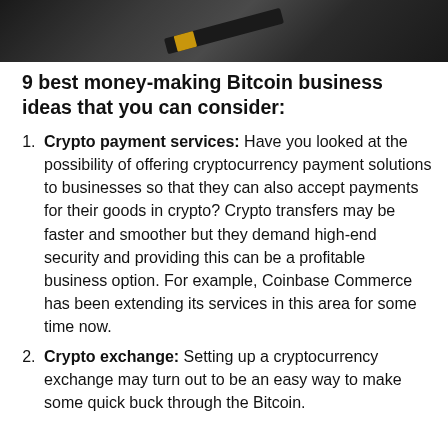[Figure (photo): Dark background photo showing what appears to be a black pen or stylus with a gold band, against a dark surface. Top portion of image visible as a strip.]
9 best money-making Bitcoin business ideas that you can consider:
Crypto payment services: Have you looked at the possibility of offering cryptocurrency payment solutions to businesses so that they can also accept payments for their goods in crypto? Crypto transfers may be faster and smoother but they demand high-end security and providing this can be a profitable business option. For example, Coinbase Commerce has been extending its services in this area for some time now.
Crypto exchange: Setting up a cryptocurrency exchange may turn out to be an easy way to make some quick buck through the Bitcoin.